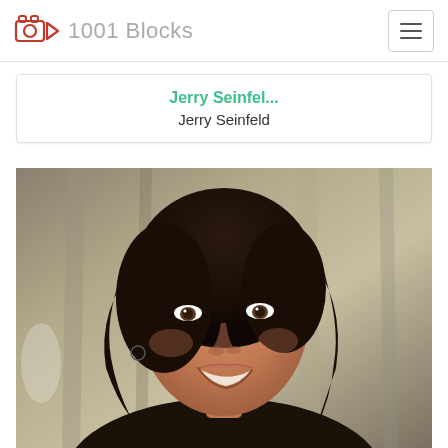1001 Blocks
Jerry Seinfel...
Jerry Seinfeld
[Figure (photo): Portrait photo of a dark-haired woman smiling, with a blurred curtain background]